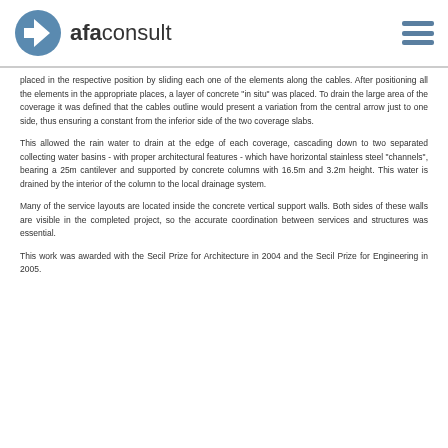afaconsult
placed in the respective position by sliding each one of the elements along the cables. After positioning all the elements in the appropriate places, a layer of concrete "in situ" was placed. To drain the large area of the coverage it was defined that the cables outline would present a variation from the central arrow just to one side, thus ensuring a constant from the inferior side of the two coverage slabs.
This allowed the rain water to drain at the edge of each coverage, cascading down to two separated collecting water basins - with proper architectural features - which have horizontal stainless steel "channels", bearing a 25m cantilever and supported by concrete columns with 16.5m and 3.2m height. This water is drained by the interior of the column to the local drainage system.
Many of the service layouts are located inside the concrete vertical support walls. Both sides of these walls are visible in the completed project, so the accurate coordination between services and structures was essential.
This work was awarded with the Secil Prize for Architecture in 2004 and the Secil Prize for Engineering in 2005.